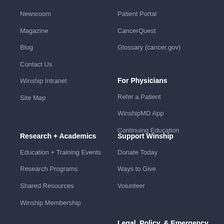Newsroom
Magazine
Blog
Contact Us
Winship Intranet
Site Map
Patient Portal
CancerQuest
Glossary (cancer.gov)
For Physicians
Refer a Patient
WinshipMD App
Continuing Education
Research + Academics
Education + Training Events
Research Programs
Shared Resources
Winship Membership
Support Winship
Donate Today
Ways to Give
Volunteer
Legal, Policy, & Emergency
Legal Statement + Policy